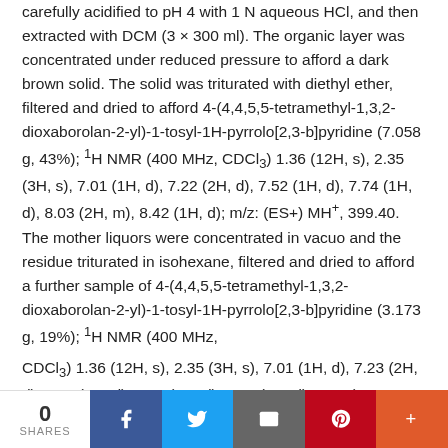carefully acidified to pH 4 with 1 N aqueous HCl, and then extracted with DCM (3 × 300 ml). The organic layer was concentrated under reduced pressure to afford a dark brown solid. The solid was triturated with diethyl ether, filtered and dried to afford 4-(4,4,5,5-tetramethyl-1,3,2-dioxaborolan-2-yl)-1-tosyl-1H-pyrrolo[2,3-b]pyridine (7.058 g, 43%); ¹H NMR (400 MHz, CDCl₃) 1.36 (12H, s), 2.35 (3H, s), 7.01 (1H, d), 7.22 (2H, d), 7.52 (1H, d), 7.74 (1H, d), 8.03 (2H, m), 8.42 (1H, d); m/z: (ES+) MH⁺, 399.40. The mother liquors were concentrated in vacuo and the residue triturated in isohexane, filtered and dried to afford a further sample of 4-(4,4,5,5-tetramethyl-1,3,2-dioxaborolan-2-yl)-1-tosyl-1H-pyrrolo[2,3-b]pyridine (3.173 g, 19%); ¹H NMR (400 MHz,
CDCl₃) 1.36 (12H, s), 2.35 (3H, s), 7.01 (1H, d), 7.23 (2H, d), 7.52 (1H, d), 7.74 (1H, d), 8.03 (2H, d), 8.42 (1H, [redacted]